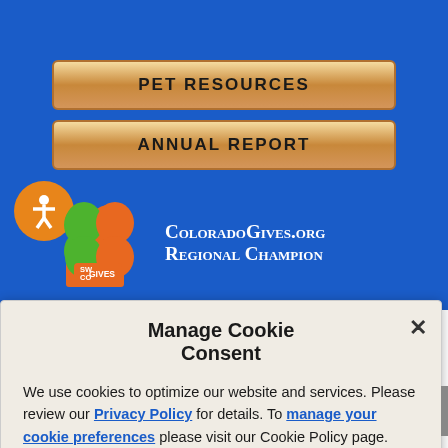PET RESOURCES
ANNUAL REPORT
[Figure (logo): SW CO Gives logo with green and orange cloud/leaf shapes]
ColoradoGives.org Regional Champion
Manage Cookie Consent
We use cookies to optimize our website and services. Please review our Privacy Policy for details. To manage your cookie preferences please visit our Cookie Policy page.
ACCEPT